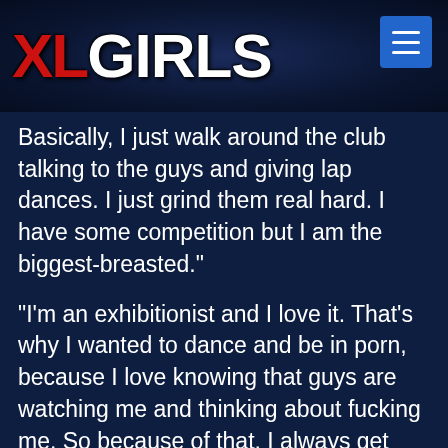XLGIRLS
Basically, I just walk around the club talking to the guys and giving lap dances. I just grind them real hard. I have some competition but I am the biggest-breasted."
"I'm an exhibitionist and I love it. That's why I wanted to dance and be in porn, because I love knowing that guys are watching me and thinking about fucking me. So because of that, I always get way into what I'm doing to get other people to react to me."